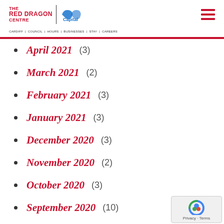The Red Dragon Centre | Capital FM
April 2021 (3)
March 2021 (2)
February 2021 (3)
January 2021 (3)
December 2020 (3)
November 2020 (2)
October 2020 (3)
September 2020 (10)
August 2020 (2)